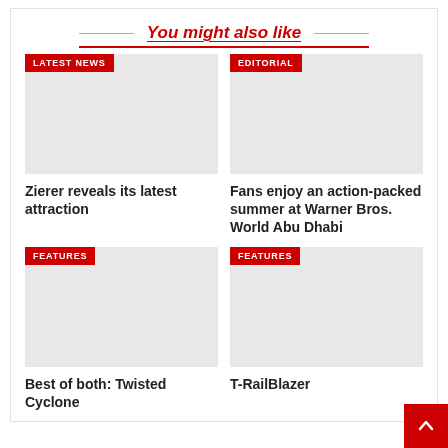You might also like
[Figure (photo): Placeholder image for Latest News - Zierer reveals its latest attraction]
Zierer reveals its latest attraction
[Figure (photo): Placeholder image for Editorial - Fans enjoy an action-packed summer at Warner Bros. World Abu Dhabi]
Fans enjoy an action-packed summer at Warner Bros. World Abu Dhabi
[Figure (photo): Placeholder image for Features - Best of both: Twisted Cyclone]
Best of both: Twisted Cyclone
[Figure (photo): Placeholder image for Features - T-RailBlazer]
T-RailBlazer